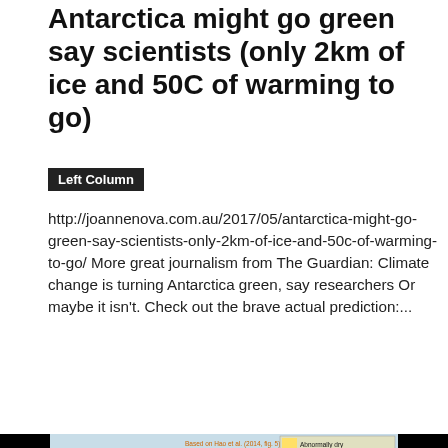Antarctica might go green say scientists (only 2km of ice and 50C of warming to go)
Left Column
http://joannenova.com.au/2017/05/antarctica-might-go-green-say-scientists-only-2km-of-ice-and-50c-of-warming-to-go/ More great journalism from The Guardian: Climate change is turning Antarctica green, say researchers Or maybe it isn't. Check out the brave actual prediction:...
Read more
[Figure (continuous-plot): Chart showing percentage of the globe in drought over time. Based on Hao et al. (2014, fig. 5). Shows a downward trend in droughts for 30 years (green arrow). Yellow area chart of drought percentage with peaks around 40% and labels at 20%, 30%, 40%. Legend shows drought categories: Abnormally dry (yellow), Moderate drought (orange-yellow), Extreme drought (tan/brown), Severe drought (red), Exceptional drought (dark red). 'Great el Nino (natural)' labeled in red at a peak.]